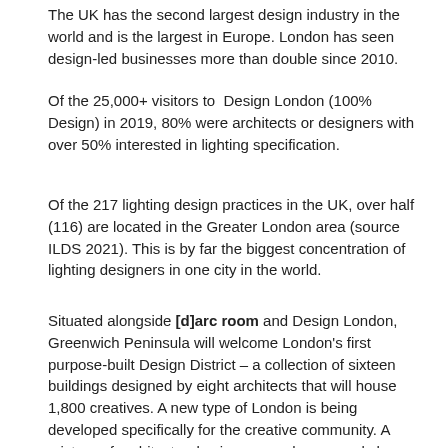The UK has the second largest design industry in the world and is the largest in Europe. London has seen design-led businesses more than double since 2010.
Of the 25,000+ visitors to Design London (100% Design) in 2019, 80% were architects or designers with over 50% interested in lighting specification.
Of the 217 lighting design practices in the UK, over half (116) are located in the Greater London area (source ILDS 2021). This is by far the biggest concentration of lighting designers in one city in the world.
Situated alongside [d]arc room and Design London, Greenwich Peninsula will welcome London's first purpose-built Design District – a collection of sixteen buildings designed by eight architects that will house 1,800 creatives. A new type of London is being developed specifically for the creative community. A mixture of architectural voices, open house workshops and design lovers will create an undeniable buzz of activity during London Design Festival aligning with [d]arc room and Design London's celebration